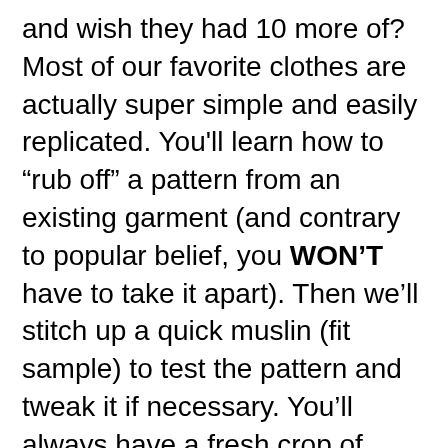and wish they had 10 more of? Most of our favorite clothes are actually super simple and easily replicated. You'll learn how to “rub off” a pattern from an existing garment (and contrary to popular belief, you WON’T have to take it apart). Then we’ll stitch up a quick muslin (fit sample) to test the pattern and tweak it if necessary. You’ll always have a fresh crop of handmade garments that feel like old friends!
Note: The muslin will not be a finished garment, but can likely be finished after